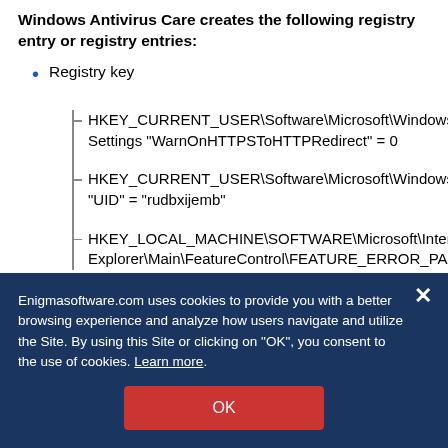Windows Antivirus Care creates the following registry entry or registry entries:
Registry key
HKEY_CURRENT_USER\Software\Microsoft\Windows\CurrentVersion\Internet Settings "WarnOnHTTPSToHTTPRedirect" = 0
HKEY_CURRENT_USER\Software\Microsoft\Windows\CurrentVersion\Settings "UID" = "rudbxijemb"
HKEY_LOCAL_MACHINE\SOFTWARE\Microsoft\Internet Explorer\Main\FeatureControl\FEATURE_ERROR_PAGE_BYPASS_ZONE_CHECK_FOR_HTTPS_KB954312
Enigmasoftware.com uses cookies to provide you with a better browsing experience and analyze how users navigate and utilize the Site. By using this Site or clicking on "OK", you consent to the use of cookies. Learn more.